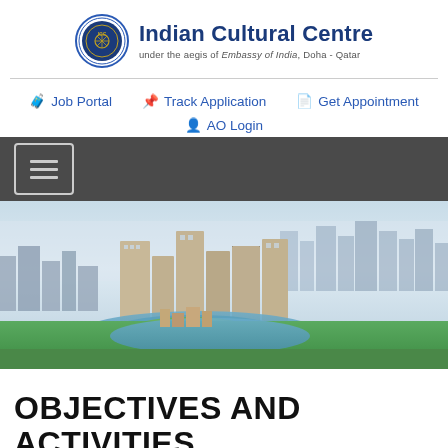Indian Cultural Centre under the aegis of Embassy of India, Doha - Qatar
Job Portal | Track Application | Get Appointment | AO Login
[Figure (photo): Aerial view of Doha, Qatar skyline with Pearl Island and waterfront visible]
OBJECTIVES AND ACTIVITIES